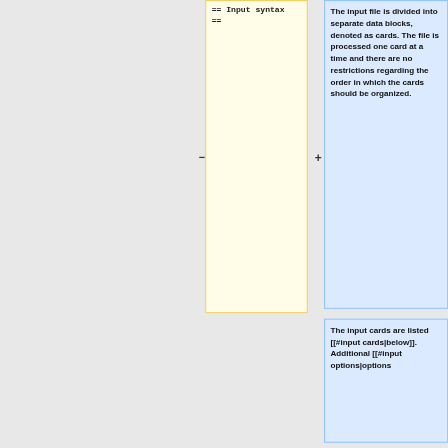== Input syntax ==
The input file is divided into separate data blocks, denoted as cards. The file is processed one card at a time and there are no restrictions regarding the order in which the cards should be organized.
The input cards are listed [[#input cards|below]]. Additional [[#input options|options